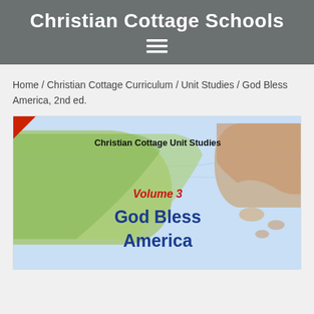Christian Cottage Schools
Home / Christian Cottage Curriculum / Unit Studies / God Bless America, 2nd ed.
[Figure (illustration): Book cover for 'God Bless America, 2nd ed.' showing a map background with text: 'Christian Cottage Unit Studies', 'Volume 3' in red italic, 'God Bless America' in large blue bold text.]